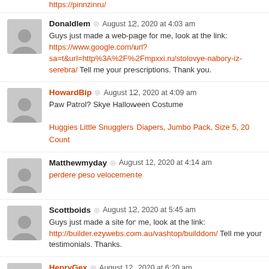https://pinnzinru/
Donaldlem · August 12, 2020 at 4:03 am
Guys just made a web-page for me, look at the link:
https://www.google.com/url?sa=t&url=http%3A%2F%2Fmpxxi.ru/stolovye-nabory-iz-serebra/ Tell me your prescriptions. Thank you.
HowardBip · August 12, 2020 at 4:09 am
Paw Patrol? Skye Halloween Costume
Huggies Little Snugglers Diapers, Jumbo Pack, Size 5, 20 Count
Matthewmyday · August 12, 2020 at 4:14 am
perdere peso velocemente
Scottboids · August 12, 2020 at 5:45 am
Guys just made a site for me, look at the link:
http://builder.ezywebs.com.au/vashtop/builddom/ Tell me your testimonials. Thanks.
HenryGex · August 12, 2020 at 6:20 am